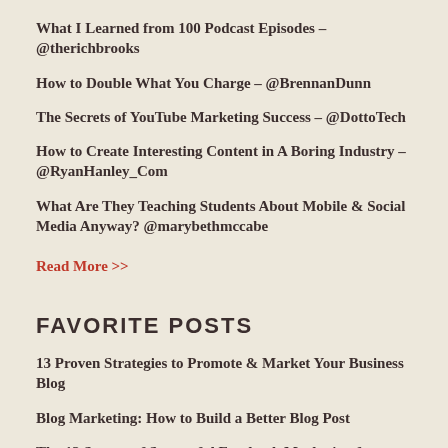What I Learned from 100 Podcast Episodes – @therichbrooks
How to Double What You Charge – @BrennanDunn
The Secrets of YouTube Marketing Success – @DottoTech
How to Create Interesting Content in A Boring Industry – @RyanHanley_Com
What Are They Teaching Students About Mobile & Social Media Anyway? @marybethmccabe
Read More >>
FAVORITE POSTS
13 Proven Strategies to Promote & Market Your Business Blog
Blog Marketing: How to Build a Better Blog Post
The 13 Secrets of Successful Facebook Marketing for Small Business